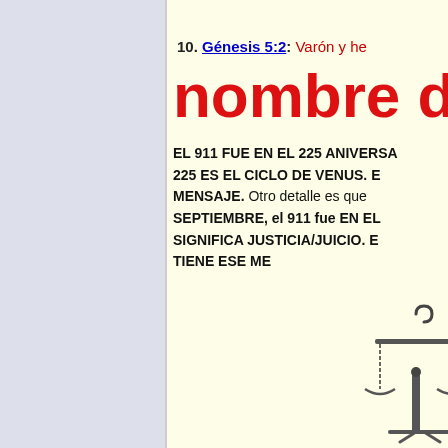10. Génesis 5:2: Varón y he...
nombre de e...
EL 911 FUE EN EL 225 ANIVERSA... 225 ES EL CICLO DE VENUS. E... MENSAJE. Otro detalle es que... SEPTIEMBRE, el 911 fue EN EL... SIGNIFICA JUSTICIA/JUICIO. E... TIENE ESE ME...
[Figure (illustration): Scales of justice illustration, partially visible at bottom right corner]